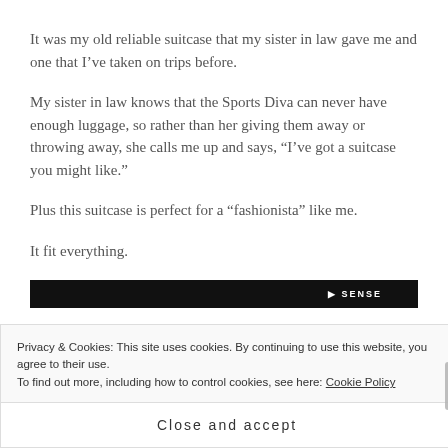It was my old reliable suitcase that my sister in law gave me and one that I've taken on trips before.
My sister in law knows that the Sports Diva can never have enough luggage, so rather than her giving them away or throwing away, she calls me up and says, “I’ve got a suitcase you might like.”
Plus this suitcase is perfect for a “fashionista” like me.
It fit everything.
[Figure (screenshot): Partial dark image strip at the bottom of the page content area]
Privacy & Cookies: This site uses cookies. By continuing to use this website, you agree to their use.
To find out more, including how to control cookies, see here: Cookie Policy
Close and accept